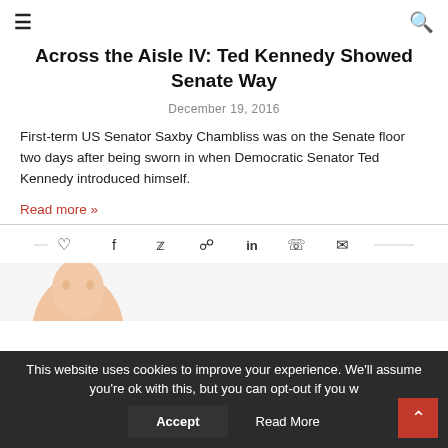≡  🔍
Across the Aisle IV: Ted Kennedy Showed Senate Way
December 19, 2016
First-term US Senator Saxby Chambliss was on the Senate floor two days after being sworn in when Democratic Senator Ted Kennedy introduced himself.
Read more »
[Figure (photo): Partial photo of a person's head/face at bottom of page]
This website uses cookies to improve your experience. We'll assume you're ok with this, but you can opt-out if you w...